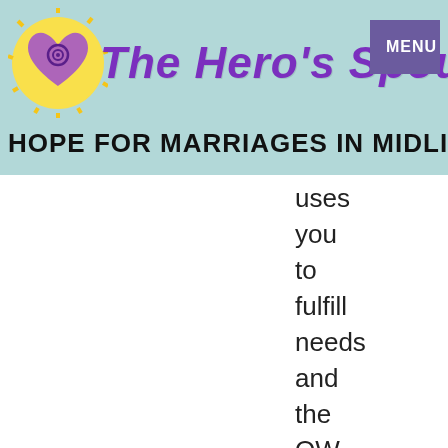The Hero's Spouse — HOPE FOR MARRIAGES IN MIDLIFE CRISIS
uses
you
to
fulfill
needs
and
the
OW
to
fulfill
other
needs.
Cake-
Eaters